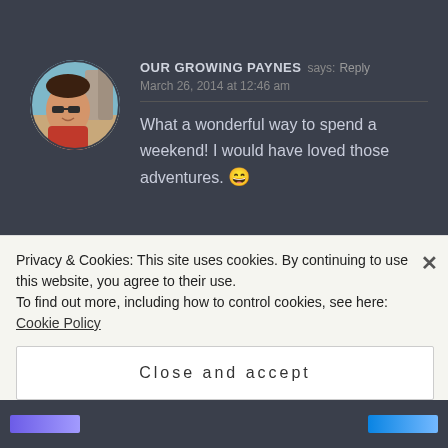[Figure (photo): Round avatar photo of a woman wearing sunglasses, outdoors near water/cliffs]
OUR GROWING PAYNES says: Reply
March 26, 2014 at 12:46 am
What a wonderful way to spend a weekend! I would have loved those adventures. 😄
[Figure (illustration): Round white avatar with silhouette user icon and rooster/bird logo]
MY FRENCH HEAVEN says: Reply
Privacy & Cookies: This site uses cookies. By continuing to use this website, you agree to their use.
To find out more, including how to control cookies, see here: Cookie Policy
Close and accept